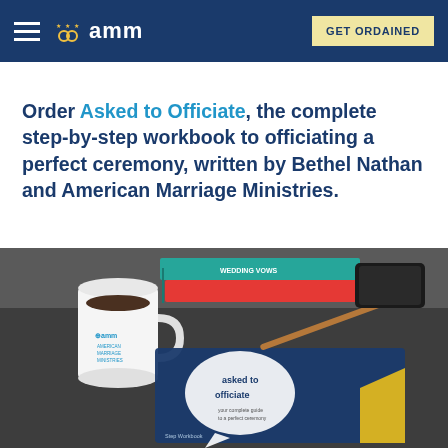amm | GET ORDAINED
Order Asked to Officiate, the complete step-by-step workbook to officiating a perfect ceremony, written by Bethel Nathan and American Marriage Ministries.
[Figure (photo): Photo of a desk scene showing the 'Asked to Officiate' workbook (blue cover with speech bubble graphic), an AMM branded coffee mug, stacked books including one labeled 'WEDDING VOWS', a pen on a clipboard, and a smartphone on a dark surface.]